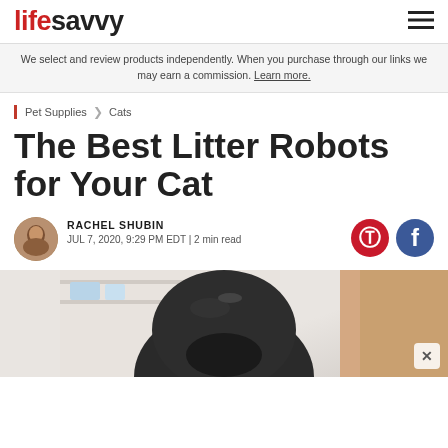lifesavvy
We select and review products independently. When you purchase through our links we may earn a commission. Learn more.
Pet Supplies > Cats
The Best Litter Robots for Your Cat
RACHEL SHUBIN JUL 7, 2020, 9:29 PM EDT | 2 min read
[Figure (photo): Photo of a black litter robot device on a light background, with a person partially visible on the right side.]